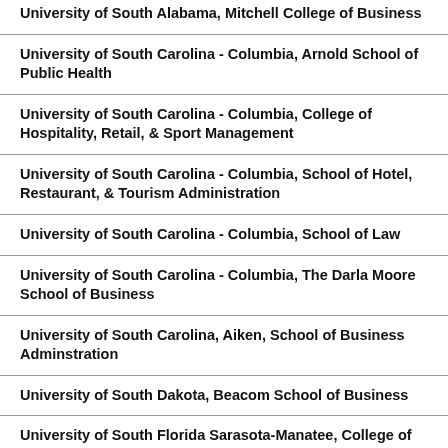University of South Alabama, Mitchell College of Business
University of South Carolina - Columbia, Arnold School of Public Health
University of South Carolina - Columbia, College of Hospitality, Retail, & Sport Management
University of South Carolina - Columbia, School of Hotel, Restaurant, & Tourism Administration
University of South Carolina - Columbia, School of Law
University of South Carolina - Columbia, The Darla Moore School of Business
University of South Carolina, Aiken, School of Business Adminstration
University of South Dakota, Beacom School of Business
University of South Florida Sarasota-Manatee, College of Business